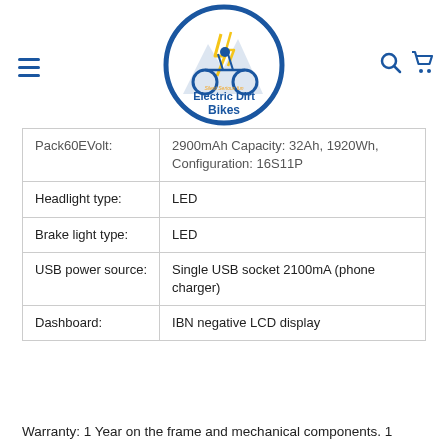Electric Dirt Bikes logo with hamburger menu, search, and cart icons
| Pack60EVolt: | 2900mAh Capacity: 32Ah, 1920Wh, Configuration: 16S11P |
| Headlight type: | LED |
| Brake light type: | LED |
| USB power source: | Single USB socket 2100mA (phone charger) |
| Dashboard: | IBN negative LCD display |
Warranty: 1 Year on the frame and mechanical components. 1